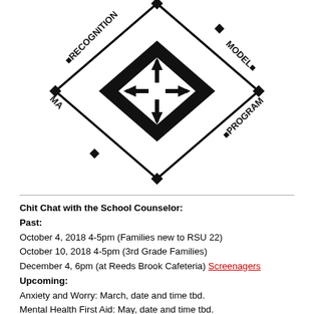[Figure (logo): Recognition Model Program diamond-shaped logo with arrows pointing in four directions and text around the border reading RECOGNITION MODEL PROGRAM]
Chit Chat with the School Counselor:
Past:
October 4, 2018 4-5pm (Families new to RSU 22)
October 10, 2018 4-5pm (3rd Grade Families)
December 4, 6pm (at Reeds Brook Cafeteria) Screenagers
Upcoming:
Anxiety and Worry: March, date and time tbd.
Mental Health First Aid: May, date and time tbd.
Weatherbee School Counseling Vision Statement:
All students at Weatherbee School are strong, committed